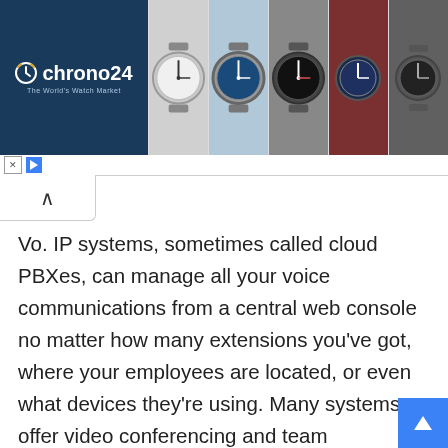[Figure (screenshot): Chrono24 banner advertisement showing the Chrono24 logo on the left with a dark blue background and five watch images on the right. Below the banner is a small close (X) and play button.]
Vo. IP systems, sometimes called cloud PBXes, can manage all your voice communications from a central web console no matter how many extensions you’ve got, where your employees are located, or even what devices they’re using. Many systems offer video conferencing and team collaboration features. Put all that together with subscription-based pricing that’s generally much cheaper than an old-fashioned, on-premises PBX, and Vo. IP is still one of the most important communications investments a business can make during a pandemic.